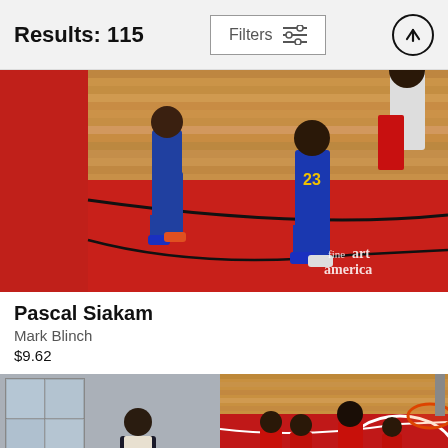Results: 115
Filters
[Figure (photo): NBA basketball game photo showing Pascal Siakam and Golden State Warriors players #23 on a red and wood basketball court, with Fine Art America watermark]
Pascal Siakam
Mark Blinch
$9.62
[Figure (photo): Photo of a man in casual clothes standing indoors near a window]
[Figure (photo): NBA basketball game photo with players on a red court near a basketball hoop, overhead view]